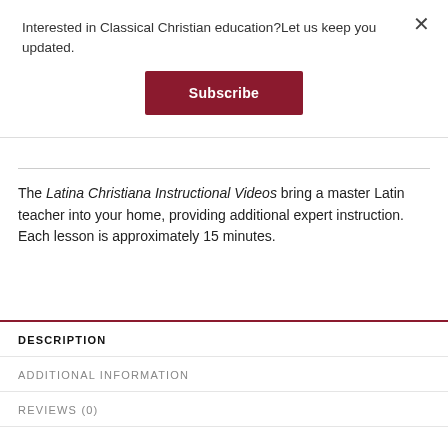Interested in Classical Christian education?Let us keep you updated.
Subscribe
The Latina Christiana Instructional Videos bring a master Latin teacher into your home, providing additional expert instruction.  Each lesson is approximately 15 minutes.
DESCRIPTION
ADDITIONAL INFORMATION
REVIEWS (0)